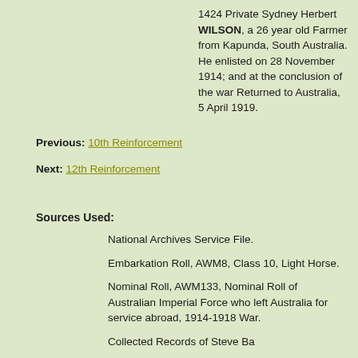1424 Private Sydney Herbert WILSON, a 26 year old Farmer from Kapunda, South Australia. He enlisted on 28 November 1914; and at the conclusion of the war Returned to Australia, 5 April 1919.
Previous: 10th Reinforcement
Next: 12th Reinforcement
Sources Used:
National Archives Service File.
Embarkation Roll, AWM8, Class 10, Light Horse.
Nominal Roll, AWM133, Nominal Roll of Australian Imperial Force who left Australia for service abroad, 1914-1918 War.
Collected Records of Steve Ba...